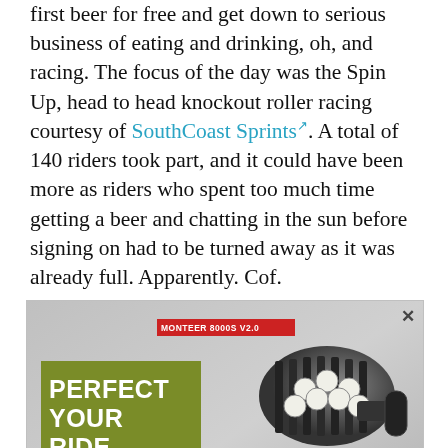first beer for free and get down to serious business of eating and drinking, oh, and racing. The focus of the day was the Spin Up, head to head knockout roller racing courtesy of SouthCoast Sprints. A total of 140 riders took part, and it could have been more as riders who spent too much time getting a beer and chatting in the sun before signing on had to be turned away as it was already full. Apparently. Cof.
[Figure (photo): Advertisement for Magicshine bike lights — Monteer 8000S V2.0 front light with remote and mount, and Seemee 150 rear lights. Text reads 'PERFECT YOUR RIDE 8000LM/150LM/IPX6'. Magicshine logo at bottom left.]